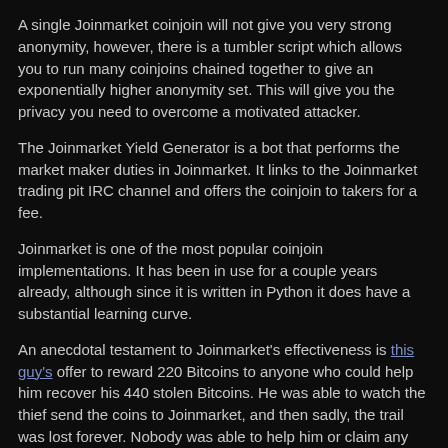A single Joinmarket coinjoin will not give you very strong anonymity, however, there is a tumbler script which allows you to run many coinjoins chained together to give an exponentially higher anonymity set. This will give you the privacy you need to overcome a motivated attacker.
The Joinmarket Yield Generator is a bot that performs the market maker duties in Joinmarket. It links to the Joinmarket trading pit IRC channel and offers the coinjoin to takers for a fee.
Joinmarket is one of the most popular coinjoin implementations. It has been in use for a couple years already, although since it is written in Python it does have a substantial learning curve.
An anecdotal testament to Joinmarket's effectiveness is this guy's offer to reward 220 Bitcoins to anyone who could help him recover his 440 stolen Bitcoins. He was able to watch the thief send the coins to Joinmarket, and then sadly, the trail was lost forever. Nobody was able to help him or claim any reward.
Joinmarket is open source and contributions are welcome.
Tutorials